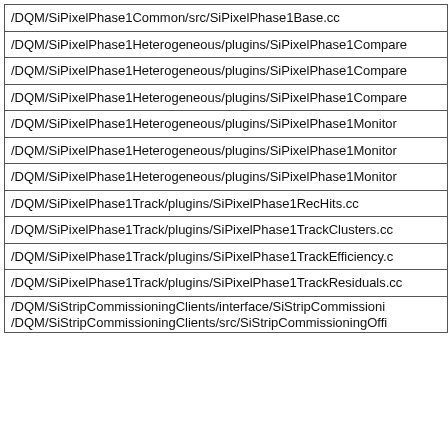| /DQM/SiPixelPhase1Common/src/SiPixelPhase1Base.cc |
| /DQM/SiPixelPhase1Heterogeneous/plugins/SiPixelPhase1Compare... |
| /DQM/SiPixelPhase1Heterogeneous/plugins/SiPixelPhase1Compare... |
| /DQM/SiPixelPhase1Heterogeneous/plugins/SiPixelPhase1Compare... |
| /DQM/SiPixelPhase1Heterogeneous/plugins/SiPixelPhase1Monitor... |
| /DQM/SiPixelPhase1Heterogeneous/plugins/SiPixelPhase1Monitor... |
| /DQM/SiPixelPhase1Heterogeneous/plugins/SiPixelPhase1Monitor... |
| /DQM/SiPixelPhase1Track/plugins/SiPixelPhase1RecHits.cc |
| /DQM/SiPixelPhase1Track/plugins/SiPixelPhase1TrackClusters.cc |
| /DQM/SiPixelPhase1Track/plugins/SiPixelPhase1TrackEfficiency.c... |
| /DQM/SiPixelPhase1Track/plugins/SiPixelPhase1TrackResiduals.cc... |
| /DQM/SiStripCommissioningClients/interface/SiStripCommissioni... |
| /DQM/SiStripCommissioningClients/src/SiStripCommissioningOffi... |